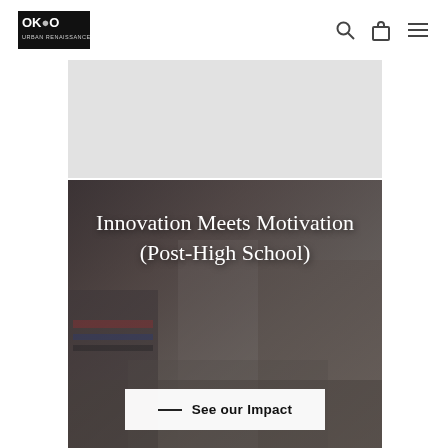OKCO Urban Renaissance — navigation bar with logo, search, cart, and menu icons
[Figure (photo): Students working on robotics/engineering project at a table; two young women focused on hands-on STEM activity with mechanical components]
Innovation Meets Motivation (Post-High School)
See our Impact